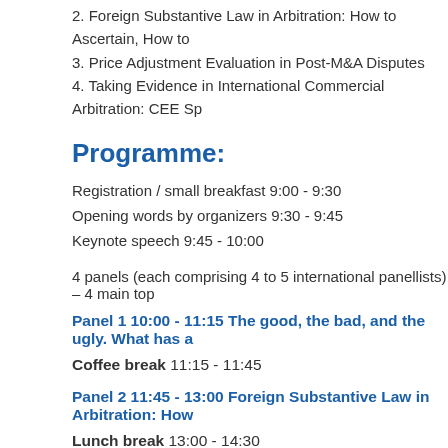2. Foreign Substantive Law in Arbitration: How to Ascertain, How to…
3. Price Adjustment Evaluation in Post-M&A Disputes
4. Taking Evidence in International Commercial Arbitration: CEE Sp…
Programme:
Registration / small breakfast 9:00 - 9:30
Opening words by organizers 9:30 - 9:45
Keynote speech 9:45 - 10:00
4 panels (each comprising 4 to 5 international panellists) – 4 main top…
Panel 1 10:00 - 11:15 The good, the bad, and the ugly. What has a…
Coffee break 11:15 - 11:45
Panel 2 11:45 - 13:00 Foreign Substantive Law in Arbitration: How…
Lunch break 13:00 - 14:30
Panel 3 14:30 - 15:45 Price Adjustment Evaluation in Post-M&A D…
Coffee break 15:45 - 16:15